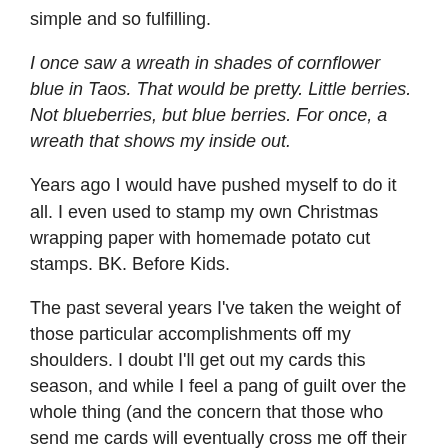simple and so fulfilling.
I once saw a wreath in shades of cornflower blue in Taos. That would be pretty. Little berries. Not blueberries, but blue berries. For once, a wreath that shows my inside out.
Years ago I would have pushed myself to do it all. I even used to stamp my own Christmas wrapping paper with homemade potato cut stamps. BK. Before Kids.
The past several years I've taken the weight of those particular accomplishments off my shoulders. I doubt I'll get out my cards this season, and while I feel a pang of guilt over the whole thing (and the concern that those who send me cards will eventually cross me off their lists), I also tell myself that it is OK. After all, I just came back from a trip abroad. Although, I don't need an excuse, do I?